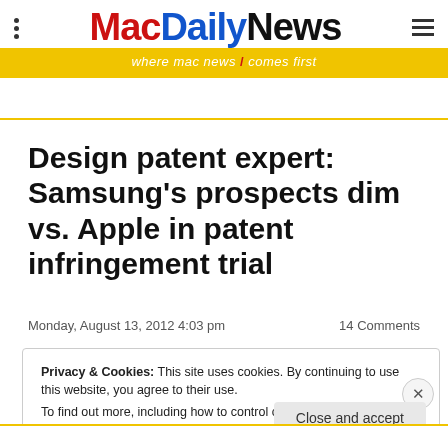MacDailyNews — where mac news / comes first
Design patent expert: Samsung's prospects dim vs. Apple in patent infringement trial
Monday, August 13, 2012 4:03 pm    14 Comments
Privacy & Cookies: This site uses cookies. By continuing to use this website, you agree to their use. To find out more, including how to control cookies, see here: Cookie Policy
Close and accept